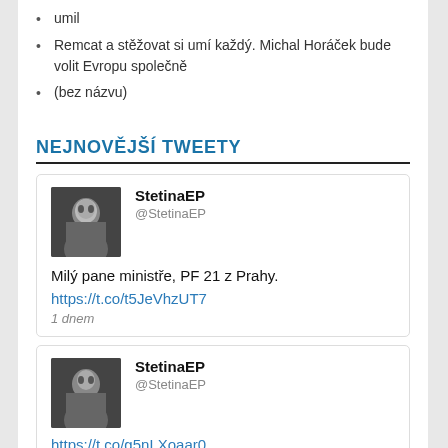umil
Remcat a stěžovat si umí každý. Michal Horáček bude volit Evropu společně
(bez názvu)
NEJNOVĚJŠÍ TWEETY
StetinaEP @StetinaEP — Milý pane ministře, PF 21 z Prahy. https://t.co/t5JeVhzUT7 — 1 dnem
StetinaEP @StetinaEP — https://t.co/g5nLXoaar0 — 2 dny
StetinaEP @StetinaEP